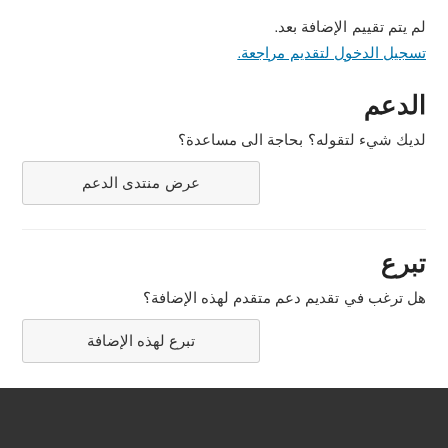لم يتم تقييم الإضافة بعد.
تسجيل الدخول لتقديم مراجعة.
الدعم
لديك شيء لتقوله؟ بحاجة الى مساعدة؟
عرض منتدى الدعم
تبرع
هل ترغب في تقديم دعم متقدم لهذه الإضافة؟
تبرع لهذه الإضافة